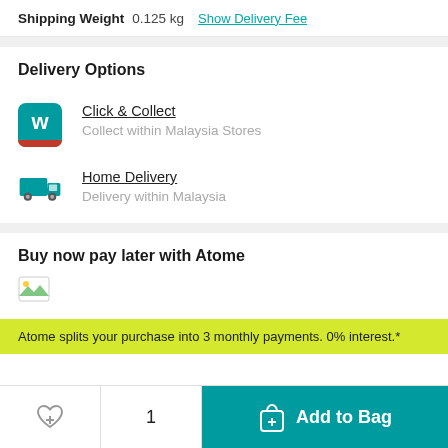Shipping Weight  0.125 kg  Show Delivery Fee
Delivery Options
Click & Collect
Collect within Malaysia Stores
Home Delivery
Delivery within Malaysia
Buy now pay later with Atome
[Figure (logo): Atome logo placeholder]
Atome splits your purchase into 3 monthly payments. 0% interest.*
1
Add to Bag